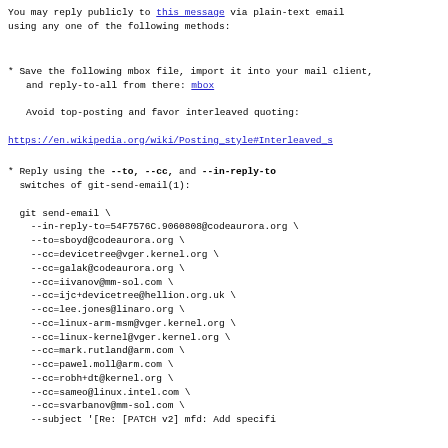You may reply publicly to this message via plain-text email
using any one of the following methods:
* Save the following mbox file, import it into your mail client,
   and reply-to-all from there: mbox

   Avoid top-posting and favor interleaved quoting:

https://en.wikipedia.org/wiki/Posting_style#Interleaved_s
* Reply using the --to, --cc, and --in-reply-to
  switches of git-send-email(1):

  git send-email \
    --in-reply-to=54F7576C.9060808@codeaurora.org \
    --to=sboyd@codeaurora.org \
    --cc=devicetree@vger.kernel.org \
    --cc=galak@codeaurora.org \
    --cc=iivanov@mm-sol.com \
    --cc=ijc+devicetree@hellion.org.uk \
    --cc=lee.jones@linaro.org \
    --cc=linux-arm-msm@vger.kernel.org \
    --cc=linux-kernel@vger.kernel.org \
    --cc=mark.rutland@arm.com \
    --cc=pawel.moll@arm.com \
    --cc=robh+dt@kernel.org \
    --cc=sameo@linux.intel.com \
    --cc=svarbanov@mm-sol.com \
    --subject '[Re: [PATCH v2] mfd: Add specific